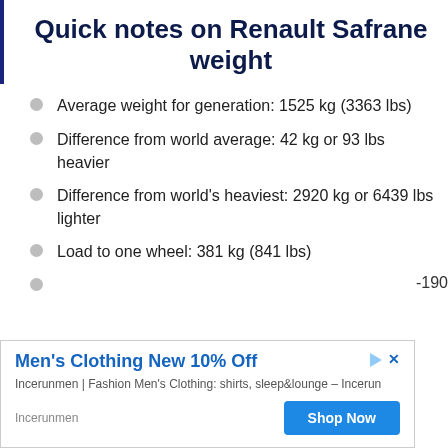Quick notes on Renault Safrane weight
Average weight for generation: 1525 kg (3363 lbs)
Difference from world average: 42 kg or 93 lbs heavier
Difference from world's heaviest: 2920 kg or 6439 lbs lighter
Load to one wheel: 381 kg (841 lbs)
[Figure (other): Advertisement banner: Men's Clothing New 10% Off - Incerunmen | Fashion Men's Clothing: shirts, sleep&lounge - Incerun. Shop Now button.]